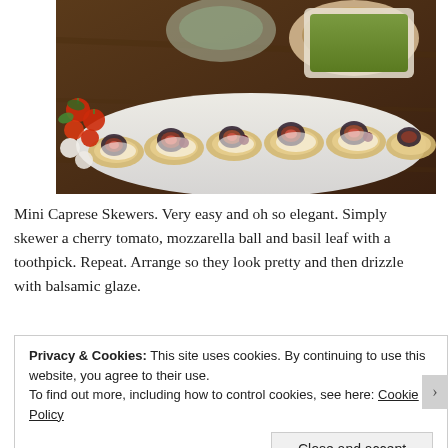[Figure (photo): A white oval platter topped with crackers layered with goat cheese, sliced figs, and dried cranberries/cherries, surrounded by cherry tomatoes, mozzarella balls, greens, and bowls of hummus and pesto in the background on a dark wooden table.]
Mini Caprese Skewers. Very easy and oh so elegant. Simply skewer a cherry tomato, mozzarella ball and basil leaf with a toothpick. Repeat. Arrange so they look pretty and then drizzle with balsamic glaze.
Privacy & Cookies: This site uses cookies. By continuing to use this website, you agree to their use.
To find out more, including how to control cookies, see here: Cookie Policy
Close and accept